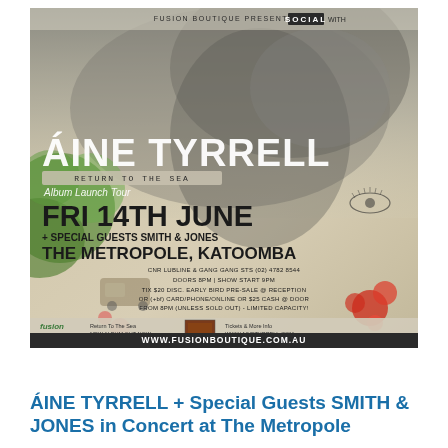[Figure (illustration): Concert poster for Áine Tyrrell 'Return To The Sea' Album Launch Tour. Features a black and white photo of a woman looking upward with hand raised, decorated with illustrated flowers and foliage. Text includes: FUSION BOUTIQUE PRESENTS THE SOCIAL WITH, ÁINE TYRRELL, RETURN TO THE SEA, Album Launch Tour, FRI 14TH JUNE, + SPECIAL GUESTS SMITH & JONES, THE METROPOLE, KATOOMBA, CNR LUBLINE & GANG GANG STS (02) 4782 8544, DOORS 8PM | SHOW START 9PM, TIX $20 DISC. EARLY BIRD PRE-SALE @ RECEPTION OR (+bf) CARD/PHONE/ONLINE OR $25 CASH @ DOOR FROM 8PM (UNLESS SOLD OUT) - LIMITED CAPACITY!, Return To The Sea NEW ALBUM OUT NOW, Tickets & More Info WWW.AINETYRRELL.COM, fusion logo, equeva logo, WWW.FUSIONBOUTIQUE.COM.AU]
ÁINE TYRRELL + Special Guests SMITH & JONES in Concert at The Metropole